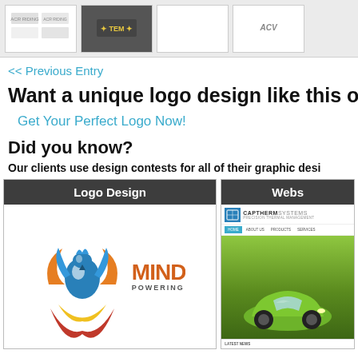[Figure (screenshot): Top gallery row showing logo design thumbnails including ACV branding designs on light and dark backgrounds]
<< Previous Entry
Want a unique logo design like this one?
Get Your Perfect Logo Now!
Did you know?
Our clients use design contests for all of their graphic desi...
[Figure (screenshot): Logo Design card showing a colorful 3D phoenix/globe logo on left and MIND POWERING text logo on right]
[Figure (screenshot): Website design card showing Captherm Systems website with navigation bar and green sports car image]